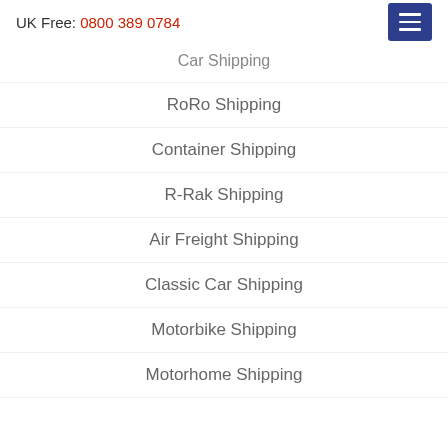UK Free: 0800 389 0784
Car Shipping
RoRo Shipping
Container Shipping
R-Rak Shipping
Air Freight Shipping
Classic Car Shipping
Motorbike Shipping
Motorhome Shipping